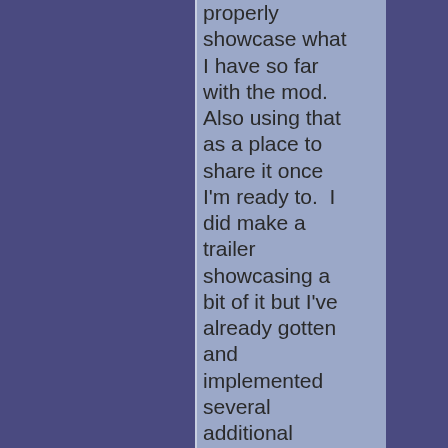properly showcase what I have so far with the mod. Also using that as a place to share it once I'm ready to.  I did make a trailer showcasing a bit of it but I've already gotten and implemented several additional features since releasing that trailer.  So